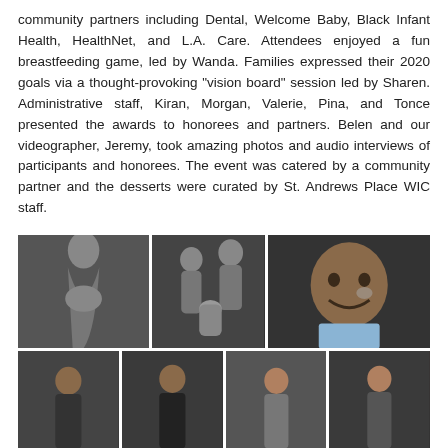community partners including Dental, Welcome Baby, Black Infant Health, HealthNet, and L.A. Care. Attendees enjoyed a fun breastfeeding game, led by Wanda. Families expressed their 2020 goals via a thought-provoking “vision board” session led by Sharen. Administrative staff, Kiran, Morgan, Valerie, Pina, and Tonce presented the awards to honorees and partners. Belen and our videographer, Jeremy, took amazing photos and audio interviews of participants and honorees. The event was catered by a community partner and the desserts were curated by St. Andrews Place WIC staff.
[Figure (photo): Grid of 7 event photos showing community members including a pregnant woman, a family with a newborn, a smiling child with face paint, and other event attendees, all photographed against dark backgrounds.]